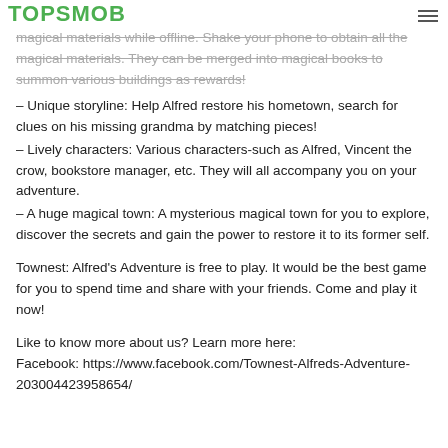TOPSMOB
magical materials while offline. Shake your phone to obtain all the magical materials. They can be merged into magical books to summon various buildings as rewards!
– Unique storyline: Help Alfred restore his hometown, search for clues on his missing grandma by matching pieces!
– Lively characters: Various characters-such as Alfred, Vincent the crow, bookstore manager, etc. They will all accompany you on your adventure.
– A huge magical town: A mysterious magical town for you to explore, discover the secrets and gain the power to restore it to its former self.
Townest: Alfred's Adventure is free to play. It would be the best game for you to spend time and share with your friends. Come and play it now!
Like to know more about us? Learn more here:
Facebook: https://www.facebook.com/Townest-Alfreds-Adventure-203004423958654/